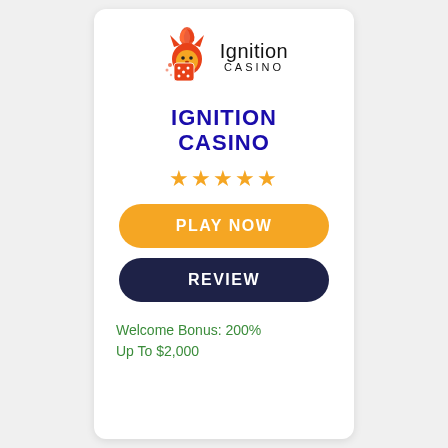[Figure (logo): Ignition Casino logo with orange squirrel/flame mascot and dice icon, text reads 'Ignition CASINO']
IGNITION CASINO
★★★★★
PLAY NOW
REVIEW
Welcome Bonus: 200% Up To $2,000